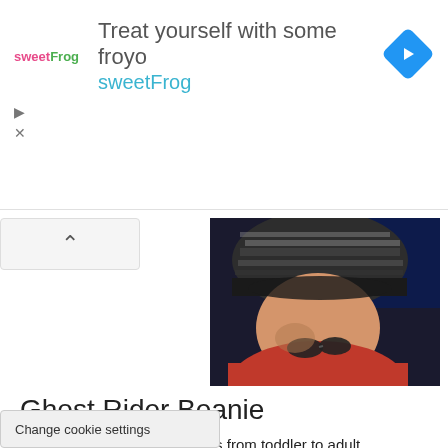[Figure (screenshot): SweetFrog advertisement banner: 'Treat yourself with some froyo sweetFrog' with logo and navigation arrow icon]
[Figure (photo): Child wearing a dark knit beanie hat with pattern, red coat, looking down with sunglasses]
Ghost Rider Beanie
Hat with flaming skulls in sizes from toddler to adult.
See more pics and get the knitting pattern on Etsy
host Rider games, iblos, dvds, comics and
Change cookie settings